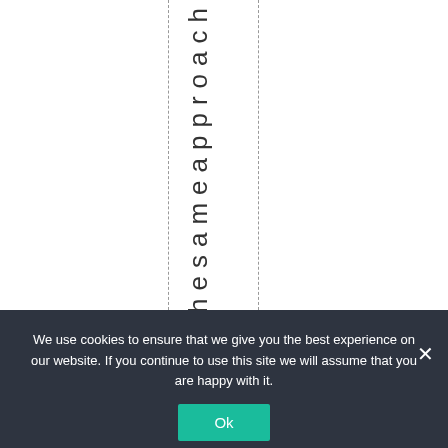usthesameapproach
We use cookies to ensure that we give you the best experience on our website. If you continue to use this site we will assume that you are happy with it. Ok